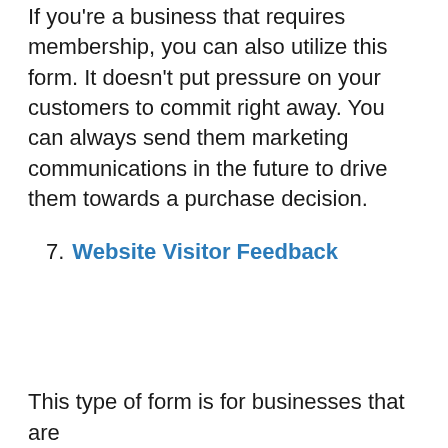If you're a business that requires membership, you can also utilize this form. It doesn't put pressure on your customers to commit right away. You can always send them marketing communications in the future to drive them towards a purchase decision.
7. Website Visitor Feedback
This type of form is for businesses that are